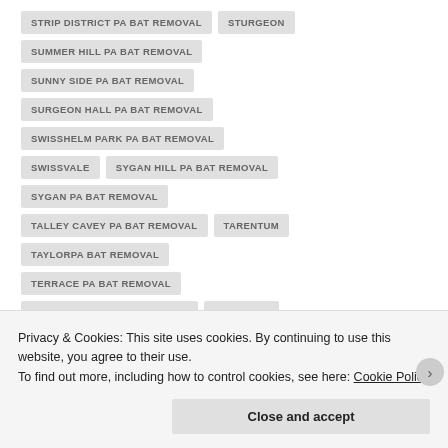STRIP DISTRICT PA BAT REMOVAL
STURGEON
SUMMER HILL PA BAT REMOVAL
SUNNY SIDE PA BAT REMOVAL
SURGEON HALL PA BAT REMOVAL
SWISSHELM PARK PA BAT REMOVAL
SWISSVALE
SYGAN HILL PA BAT REMOVAL
SYGAN PA BAT REMOVAL
TALLEY CAVEY PA BAT REMOVAL
TARENTUM
TAYLORPA BAT REMOVAL
TERRACE PA BAT REMOVAL
THORNBURG PA BAT REMOVAL
TRAFFORD
Privacy & Cookies: This site uses cookies. By continuing to use this website, you agree to their use.
To find out more, including how to control cookies, see here: Cookie Policy
Close and accept